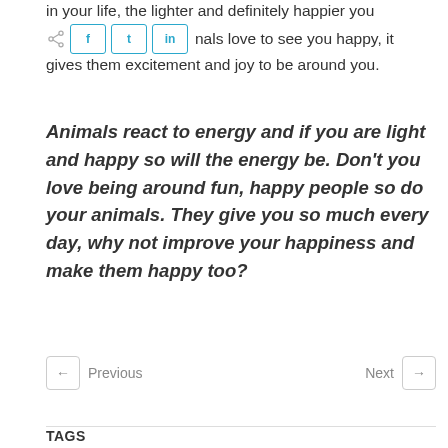in your life, the lighter and definitely happier you will
animals love to see you happy, it gives them excitement and joy to be around you.
Animals react to energy and if you are light and happy so will the energy be. Don’t you love being around fun, happy people so do your animals. They give you so much every day, why not improve your happiness and make them happy too?
Previous
Next
TAGS